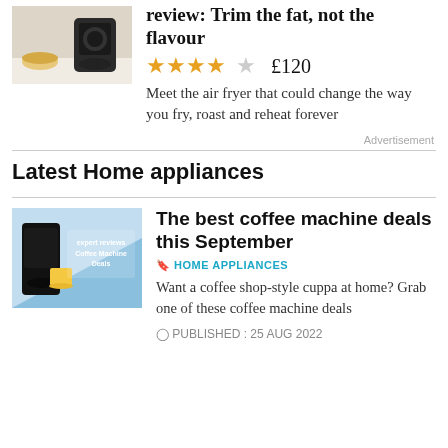[Figure (photo): Air fryer product photo with food on the side]
review: Trim the fat, not the flavour
★★★★☆  £120
Meet the air fryer that could change the way you fry, roast and reheat forever
Advertisement
Latest Home appliances
[Figure (photo): Coffee machine deals article hero image with text Expert Reviews Coffee Machine Deals]
The best coffee machine deals this September
HOME APPLIANCES
Want a coffee shop-style cuppa at home? Grab one of these coffee machine deals
PUBLISHED : 25 AUG 2022